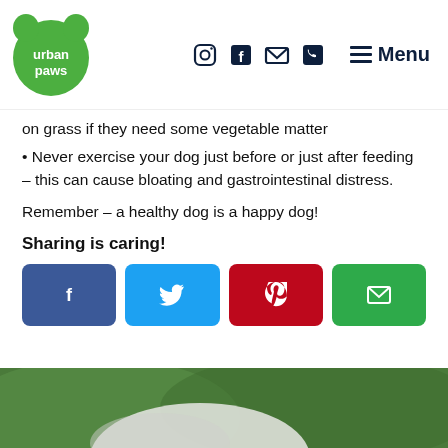urban paws — navigation with icons and Menu button
on grass if they need some vegetable matter
Never exercise your dog just before or just after feeding – this can cause bloating and gastrointestinal distress.
Remember – a healthy dog is a happy dog!
Sharing is caring!
[Figure (infographic): Four social sharing buttons: Facebook (dark blue), Twitter (light blue), Pinterest (red), Email (green), each with respective icon]
[Figure (photo): Bottom portion of page showing a blurred green and white background, likely a dog on grass]